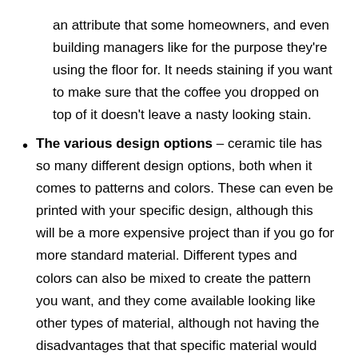an attribute that some homeowners, and even building managers like for the purpose they're using the floor for. It needs staining if you want to make sure that the coffee you dropped on top of it doesn't leave a nasty looking stain.
The various design options – ceramic tile has so many different design options, both when it comes to patterns and colors. These can even be printed with your specific design, although this will be a more expensive project than if you go for more standard material. Different types and colors can also be mixed to create the pattern you want, and they come available looking like other types of material, although not having the disadvantages that that specific material would have. For example, they can be made to imitate wood, which you wouldn't install in